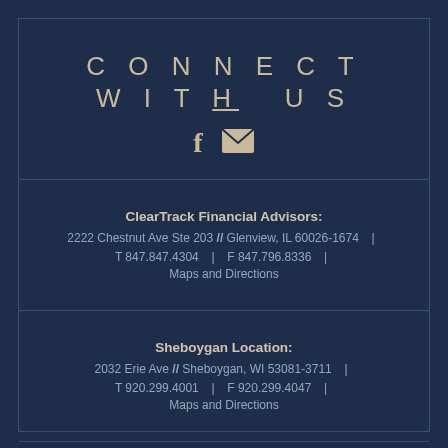CONNECT WITH US
[Figure (illustration): Facebook icon (f) and envelope/mail icon]
ClearTrack Financial Advisors: 2222 Chestnut Ave Ste 203 // Glenview, IL 60026-1674 | T 847.847.4304 | F 847.796.8336 | Maps and Directions
Sheboygan Location: 2032 Erie Ave // Sheboygan, WI 53081-3711 | T 920.299.4001 | F 920.299.4047 | Maps and Directions
Raymond James financial advisors may only conduct business with residents of the states and/or jurisdictions for which they are properly registered. Therefore a response to a request for information may be delayed.